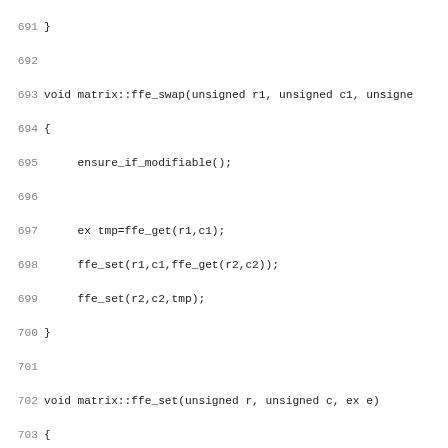Code listing lines 691-722 showing C++ matrix class methods: ffe_swap, ffe_set, ffe_get, and fraction_free_elim function comment and signature.